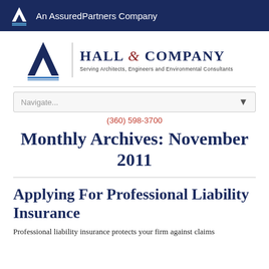An AssuredPartners Company
[Figure (logo): Hall & Company logo with A symbol and tagline: Serving Architects, Engineers and Environmental Consultants]
Navigate...
(360) 598-3700
Monthly Archives: November 2011
Applying For Professional Liability Insurance
Professional liability insurance protects your firm against claims